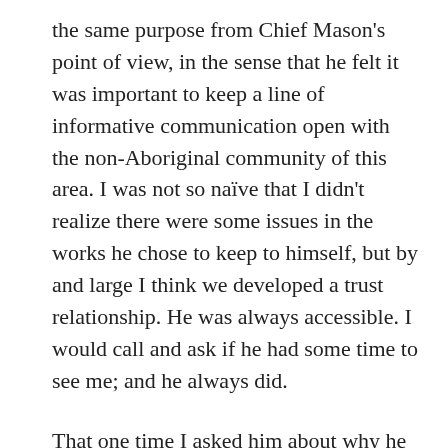the same purpose from Chief Mason's point of view, in the sense that he felt it was important to keep a line of informative communication open with the non-Aboriginal community of this area. I was not so naïve that I didn't realize there were some issues in the works he chose to keep to himself, but by and large I think we developed a trust relationship. He was always accessible. I would call and ask if he had some time to see me; and he always did.
That one time I asked him about why he was so willing to sit down with me and discuss matters affecting relations between the Aboriginal and non-Aboriginal communities that were as often as not likely to appear in the newspaper the next day.
He said he believed if the facts regarding historic